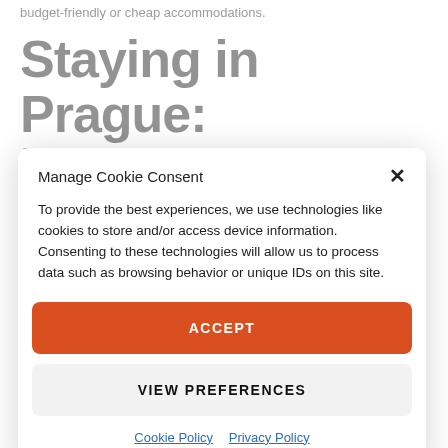budget-friendly or cheap accommodations.
Staying in Prague: basic info
Manage Cookie Consent
To provide the best experiences, we use technologies like cookies to store and/or access device information. Consenting to these technologies will allow us to process data such as browsing behavior or unique IDs on this site.
ACCEPT
VIEW PREFERENCES
Cookie Policy  Privacy Policy